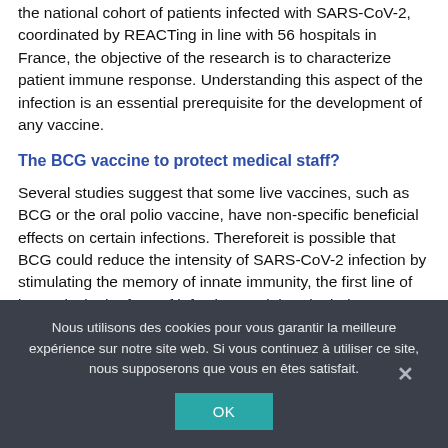the national cohort of patients infected with SARS-CoV-2, coordinated by REACTing in line with 56 hospitals in France, the objective of the research is to characterize patient immune response. Understanding this aspect of the infection is an essential prerequisite for the development of any vaccine.
The BCG vaccine to protect medical staff?
Several studies suggest that some live vaccines, such as BCG or the oral polio vaccine, have non-specific beneficial effects on certain infections. Thereforeit is possible that BCG could reduce the intensity of SARS-CoV-2 infection by stimulating the memory of innate immunity, the first line of immunity in the face of infection, and thereby induce “trained innate immunity”. Furthermore, what few contraindications there are to the use of
Nous utilisons des cookies pour vous garantir la meilleure expérience sur notre site web. Si vous continuez à utiliser ce site, nous supposerons que vous en êtes satisfait.